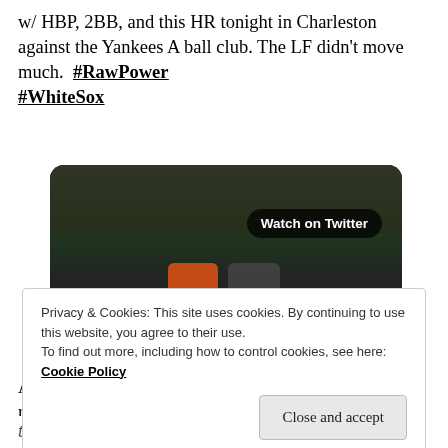w/ HBP, 2BB, and this HR tonight in Charleston against the Yankees A ball club. The LF didn't move much.  #RawPower #WhiteSox
[Figure (screenshot): Embedded Twitter video player showing a baseball scene with players on field, crowd in background, and a blue play button circle. A 'Watch on Twitter' button is visible in the upper right of the video.]
A few other hitters deserve attention, but for different reasons, first off, the underperformers:
Privacy & Cookies: This site uses cookies. By continuing to use this website, you agree to their use.
To find out more, including how to control cookies, see here: Cookie Policy
Close and accept
the time and didn't show improved bat-to-ball skills